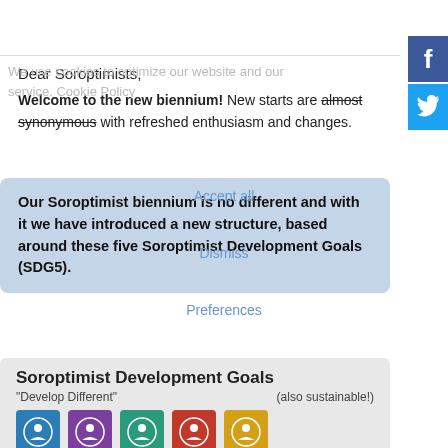We use cookies to optimize our website and our service. Cookie Policy
Dear Soroptimists,
Welcome to the new biennium! New starts are almost synonymous with refreshed enthusiasm and changes.
Our Soroptimist biennium is no different and with it we have introduced a new structure, based around these five Soroptimist Development Goals (SDG5).
Accept all
Dismiss
Preferences
[Figure (infographic): Soroptimist Development Goals card showing title 'Soroptimist Development Goals', tagline '"Develop Different"', note '(also sustainable!)', and five colored circular icons with SDG emblems in blue, purple, teal/green, red, and gold/yellow colors.]